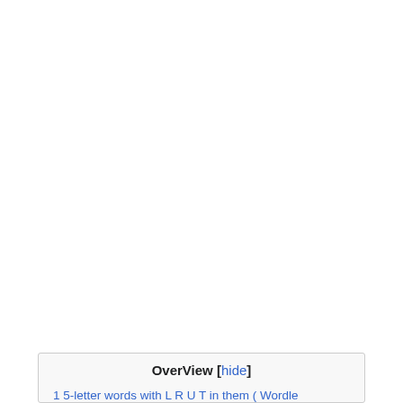OverView [hide]
1 5-letter words with L R U T in them ( Wordle